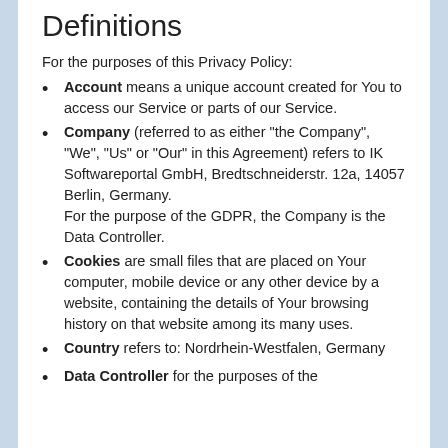Definitions
For the purposes of this Privacy Policy:
Account means a unique account created for You to access our Service or parts of our Service.
Company (referred to as either "the Company", "We", "Us" or "Our" in this Agreement) refers to IK Softwareportal GmbH, Bredtschneiderstr. 12a, 14057 Berlin, Germany. For the purpose of the GDPR, the Company is the Data Controller.
Cookies are small files that are placed on Your computer, mobile device or any other device by a website, containing the details of Your browsing history on that website among its many uses.
Country refers to: Nordrhein-Westfalen, Germany
Data Controller for the purposes of the